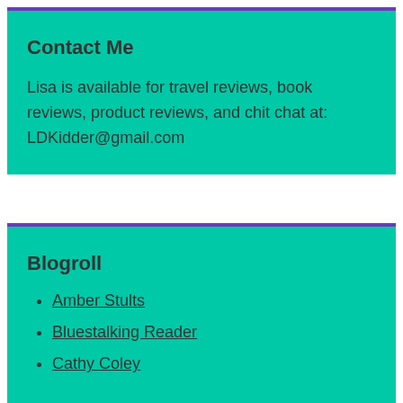Contact Me
Lisa is available for travel reviews, book reviews, product reviews, and chit chat at: LDKidder@gmail.com
Blogroll
Amber Stults
Bluestalking Reader
Cathy Coley